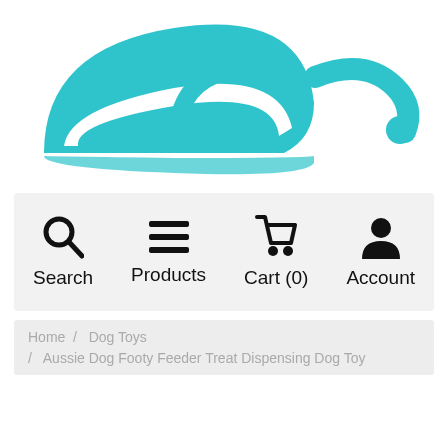[Figure (logo): Website header with teal/cyan logo (chef hat shape) and two partial teal icons to the right, on white background]
[Figure (screenshot): Navigation bar with four items: Search (magnifying glass icon), Products (hamburger menu icon), Cart (0) (shopping cart icon), Account (person icon)]
Home / Dog Toys / Aussie Dog Footy Feeder Treat Dispensing Dog Toy